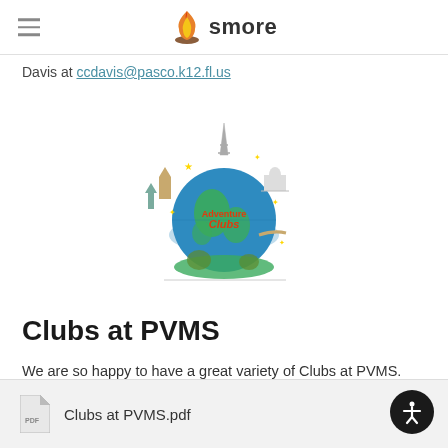smore
Davis at ccdavis@pasco.k12.fl.us
[Figure (illustration): Colorful globe with world landmarks and 'Clubs' text, adventure travel themed logo]
Clubs at PVMS
We are so happy to have a great variety of Clubs at PVMS. Please see the attachment below for a listing of clubs available!
Clubs at PVMS.pdf